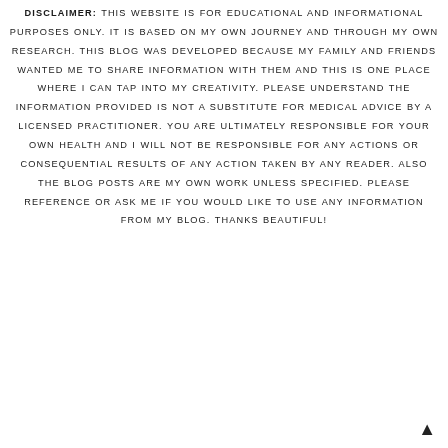DISCLAIMER: THIS WEBSITE IS FOR EDUCATIONAL AND INFORMATIONAL PURPOSES ONLY. IT IS BASED ON MY OWN JOURNEY AND THROUGH MY OWN RESEARCH. THIS BLOG WAS DEVELOPED BECAUSE MY FAMILY AND FRIENDS WANTED ME TO SHARE INFORMATION WITH THEM AND THIS IS ONE PLACE WHERE I CAN TAP INTO MY CREATIVITY. PLEASE UNDERSTAND THE INFORMATION PROVIDED IS NOT A SUBSTITUTE FOR MEDICAL ADVICE BY A LICENSED PRACTITIONER. YOU ARE ULTIMATELY RESPONSIBLE FOR YOUR OWN HEALTH AND I WILL NOT BE RESPONSIBLE FOR ANY ACTIONS OR CONSEQUENTIAL RESULTS OF ANY ACTION TAKEN BY ANY READER. ALSO THE BLOG POSTS ARE MY OWN WORK UNLESS SPECIFIED. PLEASE REFERENCE OR ASK ME IF YOU WOULD LIKE TO USE ANY INFORMATION FROM MY BLOG. THANKS BEAUTIFUL!